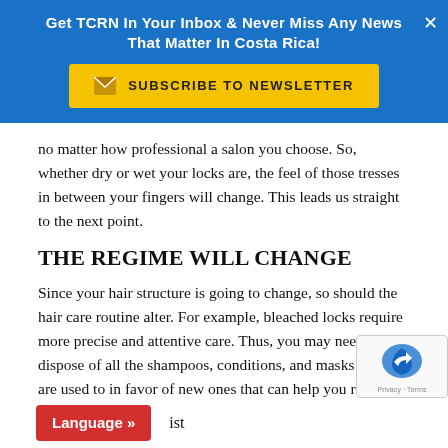Get TCRN In Your Inbox & Never Miss Any News That Matter In Costa Rica!
no matter how professional a salon you choose. So, whether dry or wet your locks are, the feel of those tresses in between your fingers will change. This leads us straight to the next point.
THE REGIME WILL CHANGE
Since your hair structure is going to change, so should the hair care routine alter. For example, bleached locks require more precise and attentive care. Thus, you may need to dispose of all the shampoos, conditions, and masks that you are used to in favor of new ones that can help you restore the health and strength of the tresses.